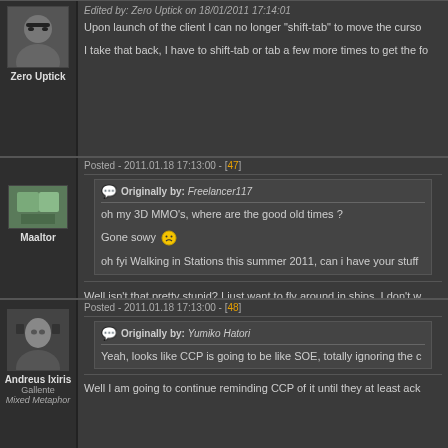Edited by: Zero Uptick on 18/01/2011 17:14:01
Upon launch of the client I can no longer "shift-tab" to move the cursor
I take that back, I have to shift-tab or tab a few more times to get the f
Zero Uptick
Posted - 2011.01.18 17:13:00 - [47]
Originally by: Freelancer117
oh my 3D MMO's, where are the good old times ?
Gone sowy
oh fyi Walking in Stations this summer 2011, can i have your stuff
Maaltor
Well isn't that pretty stupid? I just want to fly around in ships, I don't w anyway - the 'things' my character had aren't an option any more
Posted - 2011.01.18 17:13:00 - [48]
Originally by: Yumiko Hatori
Yeah, looks like CCP is going to be like SOE, totally ignoring the c
Andreus Ixiris
Gallente
Mixed Metaphor
Well I am going to continue reminding CCP of it until they at least ack